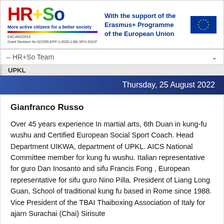[Figure (logo): HR+So project logo with tagline 'More active citizens for a better society', rainbow bar, EAC/A02/2019 grant info, Erasmus+ Programme of the European Union text, and EU flag]
– HR+So Team
UPKL
Thursday, 25 August 2022
Gianfranco Russo
Over 45 years experience In martial arts, 6th Duan in kung-fu wushu and Certified European Social Sport Coach. Head Department UIKWA, department of UPKL. AICS National Committee member for kung fu wushu. Italian representative for guro Dan Inosanto and sifu Francis Fong , European representative for sifu guro Nino Pilla. President of Liang Long Guan, School of traditional kung fu based in Rome since 1988. Vice President of the TBAI Thaiboxing Association of Italy for ajarn Surachai (Chai) Sirisute